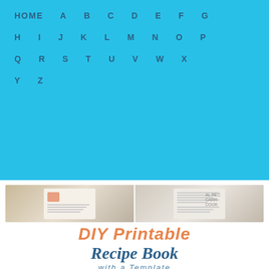HOME A B C D E F G H I J K L M N O P Q R S T U V W X Y Z
[Figure (photo): DIY Printable Recipe Book with a Template — composite image showing recipe book pages at top and a recipe book cover with cooking icons and 'MADE WITH LOVE' text below]
Diy Family Recipe Book Free Template Diy Passion .